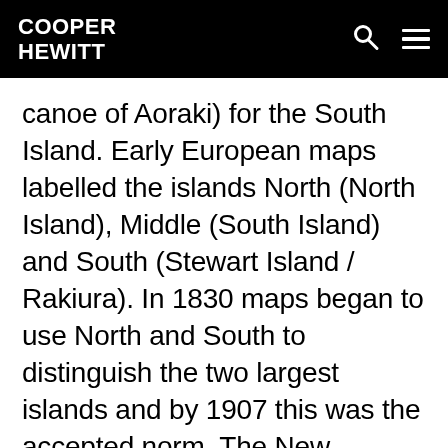COOPER HEWITT
canoe of Aoraki) for the South Island. Early European maps labelled the islands North (North Island), Middle (South Island) and South (Stewart Island / Rakiura). In 1830 maps began to use North and South to distinguish the two largest islands and by 1907 this was the accepted norm. The New Zealand Geographic Board discovered in 2009 that the names of the North Island and South Island had never been formalised, but there are now plans to do so. The board is also considering